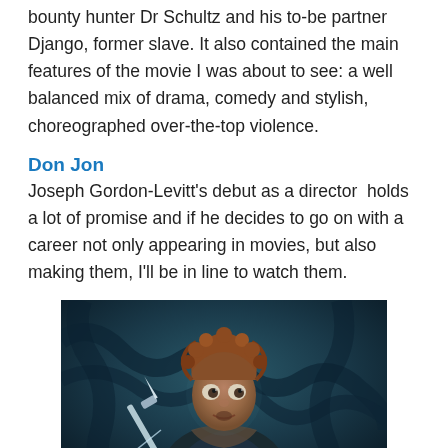bounty hunter Dr Schultz and his to-be partner Django, former slave. It also contained the main features of the movie I was about to see: a well balanced mix of drama, comedy and stylish, choreographed over-the-top violence.
Don Jon
Joseph Gordon-Levitt's debut as a director  holds a lot of promise and if he decides to go on with a career not only appearing in movies, but also making them, I'll be in line to watch them.
[Figure (photo): A hobbit-like character with curly reddish hair holding a sword or weapon, in a dark fantasy setting with roots or vines in the background. The image has a dark teal/blue color tone.]